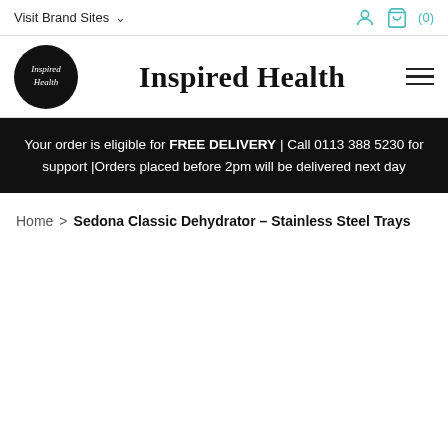Visit Brand Sites ∨
[Figure (logo): Inspired Health circular logo with white text on black background]
Inspired Health
Your order is eligible for FREE DELIVERY | Call 0113 388 5230 for support |Orders placed before 2pm will be delivered next day
Home > Sedona Classic Dehydrator – Stainless Steel Trays